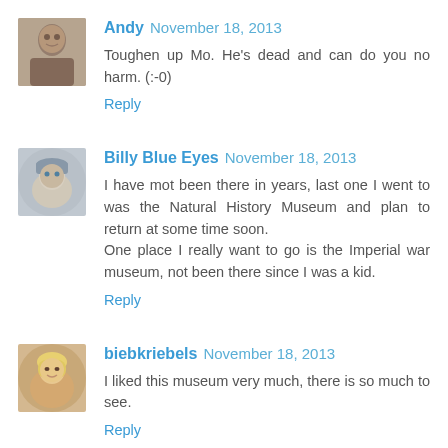[Figure (photo): Avatar of commenter Andy - elderly man photo]
Andy November 18, 2013
Toughen up Mo. He's dead and can do you no harm. (:-0)
Reply
[Figure (photo): Avatar of commenter Billy Blue Eyes - person wearing hat]
Billy Blue Eyes November 18, 2013
I have mot been there in years, last one I went to was the Natural History Museum and plan to return at some time soon.
One place I really want to go is the Imperial war museum, not been there since I was a kid.
Reply
[Figure (photo): Avatar of commenter biebkriebels - blonde woman photo]
biebkriebels November 18, 2013
I liked this museum very much, there is so much to see.
Reply